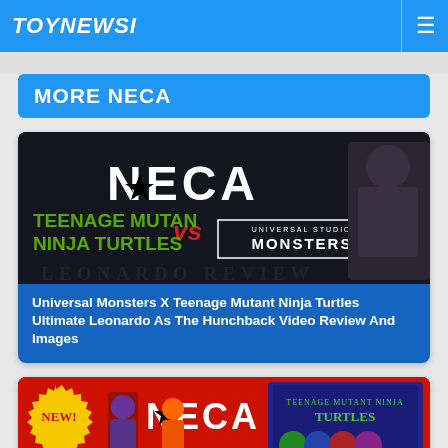TOYNEWSI
MORE NECA
[Figure (photo): NECA logo on dark background with Teenage Mutant Ninja Turtles vs Universal Studios Monsters crossover branding and a figure on the right]
Universal Monsters X Teenage Mutant Ninja Turtles Ultimate Leonardo As The Hunchback Video Review And Images
[Figure (photo): NECA product announcement on red background with NEW! starburst, NECA logo, TMNT cartoon characters, and a Teenage Mutant Ninja Turtles product box]